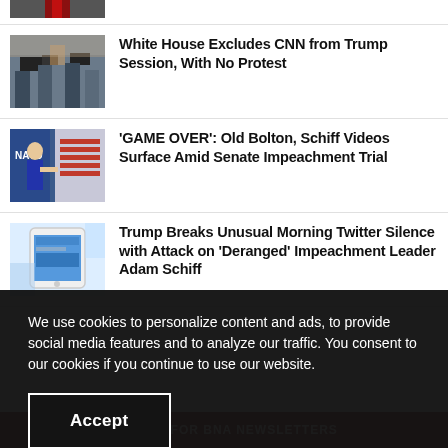[Figure (photo): Partial thumbnail of a person at top of page]
[Figure (photo): News thumbnail showing camera operators and media crew]
White House Excludes CNN from Trump Session, With No Protest
[Figure (photo): News thumbnail showing Trump at NATO podium with US flag]
'GAME OVER': Old Bolton, Schiff Videos Surface Amid Senate Impeachment Trial
[Figure (photo): News thumbnail showing a smartphone with Twitter]
Trump Breaks Unusual Morning Twitter Silence with Attack on 'Deranged' Impeachment Leader Adam Schiff
We use cookies to personalize content and ads, to provide social media features and to analyze our traffic. You consent to our cookies if you continue to use our website.